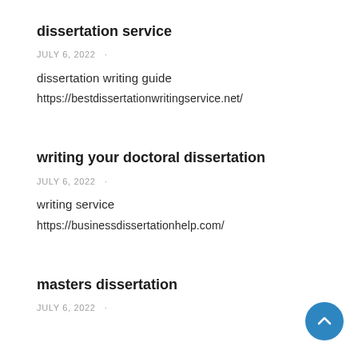dissertation service
JULY 6, 2022  ·
dissertation writing guide
https://bestdissertationwritingservice.net/
writing your doctoral dissertation
JULY 6, 2022  ·
writing service
https://businessdissertationhelp.com/
masters dissertation
JULY 6, 2022  ·